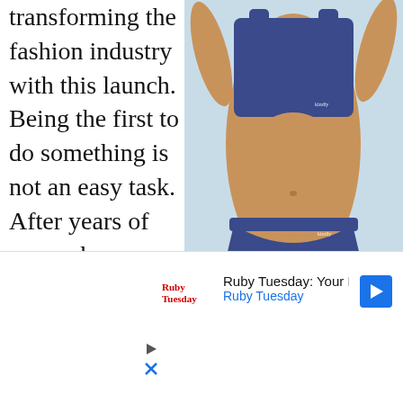transforming the fashion industry with this launch. Being the first to do something is not an easy task. After years of research,
[Figure (photo): Woman wearing navy blue sports bra and matching underwear set from Kindly brand, against light blue background]
trial, and error, Kindly is here to shake things up. These intimates are the first of their kind. As time passes and their brand continues to grow, it would be great to see an expansion in the
[Figure (other): Advertisement for Ruby Tuesday: Your Happy Place with Ruby Tuesday logo and navigation arrow icon, plus play and close icons below]